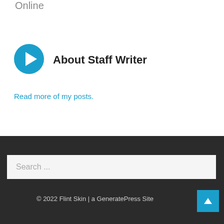Online
[Figure (illustration): Blue circular play button icon with white triangle pointing right]
About Staff Writer
Read more of my posts.
Search ...
© 2022 Flint Skin | a GeneratePress Site